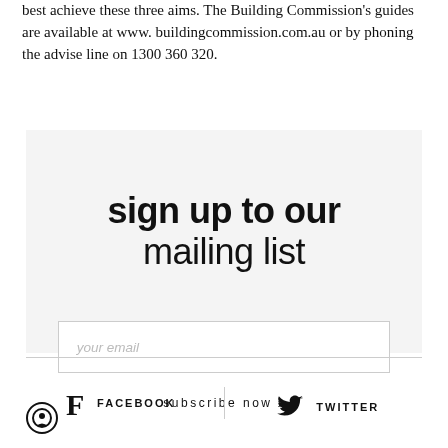best achieve these three aims. The Building Commission's guides are available at www. buildingcommission.com.au or by phoning the advise line on 1300 360 320.
sign up to our mailing list
your email
subscribe now ›
[Figure (other): Footer social media icons: Facebook and Twitter links with icons]